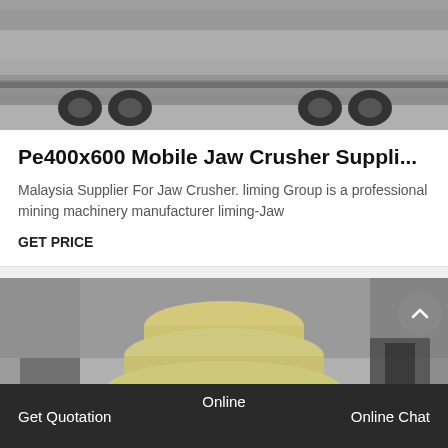[Figure (photo): Photograph of a large truck/semi-trailer on a concrete surface, viewed from a low angle showing the undercarriage and rear wheels, in a gray/industrial setting.]
Pe400x600 Mobile Jaw Crusher Suppli...
Malaysia Supplier For Jaw Crusher. liming Group is a professional mining machinery manufacturer liming-Jaw
GET PRICE
[Figure (photo): Photograph of a large cone crusher machine (cream/yellow colored) in an industrial factory/warehouse setting. A circular scroll-to-top arrow button is overlaid on the right side of the image.]
Online
Get Quotation     Online Chat